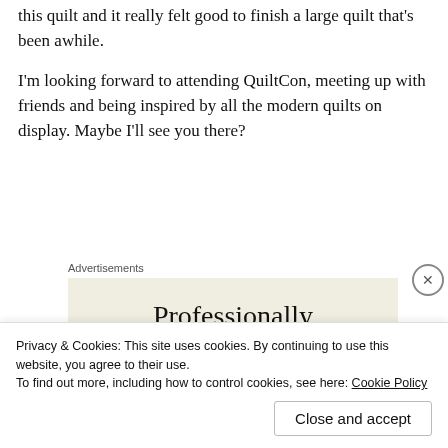this quilt and it really felt good to finish a large quilt that's been awhile.
I'm looking forward to attending QuiltCon, meeting up with friends and being inspired by all the modern quilts on display. Maybe I'll see you there?
Advertisements
[Figure (other): Advertisement box with beige background showing the word 'Professionally']
Privacy & Cookies: This site uses cookies. By continuing to use this website, you agree to their use.
To find out more, including how to control cookies, see here: Cookie Policy
Close and accept